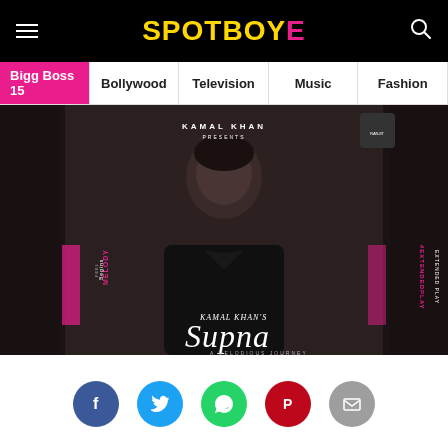SPOTBOYE
Bigg Boss 15 | Bollywood | Television | Music | Fashion
[Figure (photo): Album cover for Kamal Khan's 'Supna - A Melodious Journey' EP, showing a young man in black suit on dark background with text 'KAMAL KHAN PRESENTS', 'MELODY Begins', '#EXTENDEDPLAY', and cursive 'Supna' title]
[Figure (infographic): Social sharing icons: Facebook (blue), Twitter (blue), WhatsApp (green), Pinterest (red), Email (grey)]